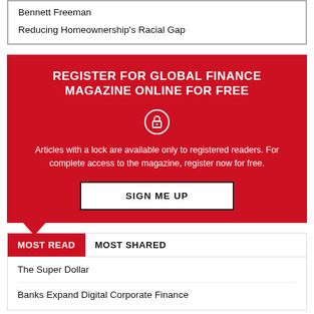Bennett Freeman
Reducing Homeownership's Racial Gap
[Figure (infographic): Red promotional banner: Register for Global Finance Magazine Online for Free, with lock icon, descriptive text about registered access, and a Sign Me Up button.]
MOST READ | MOST SHARED
The Super Dollar
Banks Expand Digital Corporate Finance